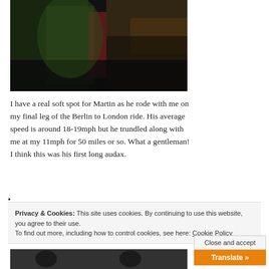[Figure (photo): Dark indoor photo showing a person in a green shirt near a kitchen counter with items on it]
I have a real soft spot for Martin as he rode with me on my final leg of the Berlin to London ride. His average speed is around 18-19mph but he trundled along with me at my 11mph for 50 miles or so. What a gentleman! I think this was his first long audax.
•
Privacy & Cookies: This site uses cookies. By continuing to use this website, you agree to their use. To find out more, including how to control cookies, see here: Cookie Policy
Close and accept
Translate »
[Figure (photo): Partial view of another outdoor photo at bottom of page]